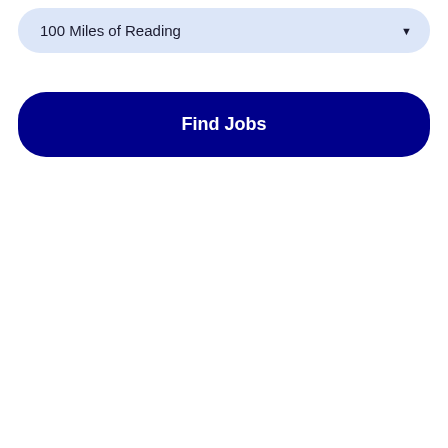100 Miles of Reading
Find Jobs